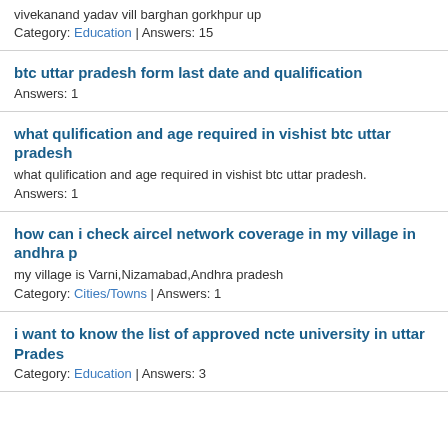vivekanand yadav vill barghan gorkhpur up
Category: Education | Answers: 15
btc uttar pradesh form last date and qualification
Answers: 1
what qulification and age required in vishist btc uttar pradesh
what qulification and age required in vishist btc uttar pradesh.
Answers: 1
how can i check aircel network coverage in my village in andhra p
my village is Varni,Nizamabad,Andhra pradesh
Category: Cities/Towns | Answers: 1
i want to know the list of approved ncte university in uttar Prades
Category: Education | Answers: 3